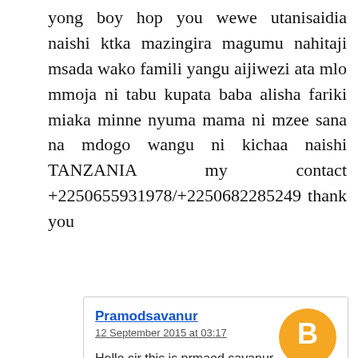yong boy hop you wewe utanisaidia naishi ktka mazingira magumu nahitaji msada wako famili yangu aijiwezi ata mlo mmoja ni tabu kupata baba alisha fariki miaka minne nyuma mama ni mzee sana na mdogo wangu ni kichaa naishi TANZANIA my contact +2250655931978/+2250682285249 thank you
Reply
Pramodsavanur
12 September 2015 at 03:17
Hello sir this is prmaod savanur